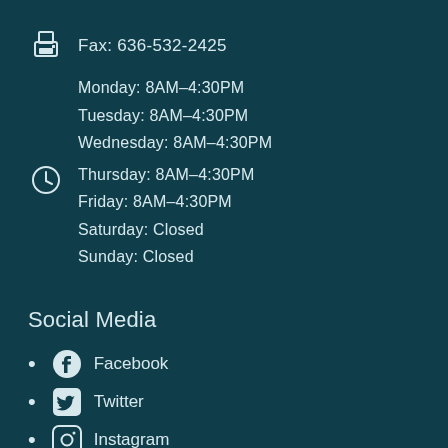Fax: 636-532-2425
Monday: 8AM–4:30PM
Tuesday: 8AM–4:30PM
Wednesday: 8AM–4:30PM
Thursday: 8AM–4:30PM
Friday: 8AM–4:30PM
Saturday: Closed
Sunday: Closed
Social Media
Facebook
Twitter
Instagram
YouTube
Information